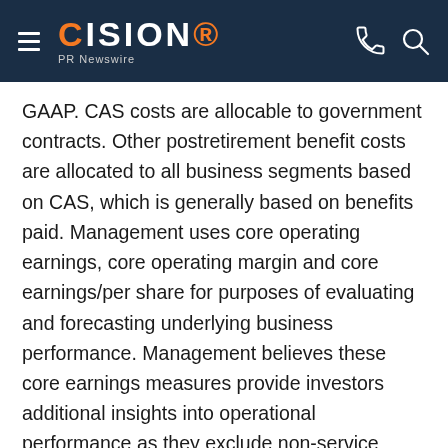CISION PR Newswire
GAAP. CAS costs are allocable to government contracts. Other postretirement benefit costs are allocated to all business segments based on CAS, which is generally based on benefits paid. Management uses core operating earnings, core operating margin and core earnings/per share for purposes of evaluating and forecasting underlying business performance. Management believes these core earnings measures provide investors additional insights into operational performance as they exclude non-service pension and post-retirement costs, which primarily represent costs driven by market factors and costs not allocable to government contracts. A reconciliation between the GAAP and